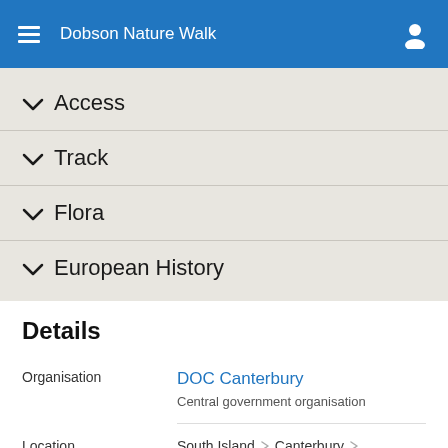Dobson Nature Walk
Access
Track
Flora
European History
Details
|  |  |
| --- | --- |
| Organisation | DOC Canterbury
Central government organisation |
| Location | South Island ▷ Canterbury ▷ Arthur's Pass |